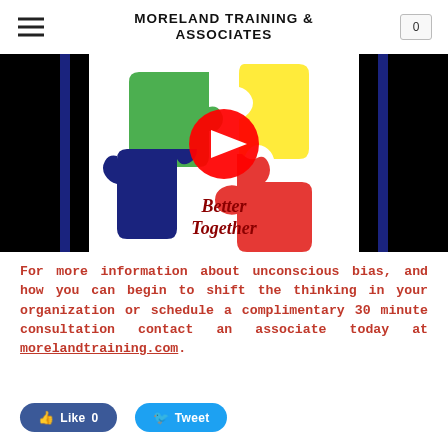MORELAND TRAINING & ASSOCIATES
[Figure (screenshot): YouTube video thumbnail showing four colored puzzle pieces (green, yellow, red, navy blue) fitting together with a red YouTube play button overlay in the center, and the text 'Better Together' in red serif font below the puzzle image. The image has black bars on the sides and a dark navy blue vertical stripe on each side of the main content area.]
For more information about unconscious bias, and how you can begin to shift the thinking in your organization or schedule a complimentary 30 minute consultation contact an associate today at morelandtraining.com.
[Figure (infographic): Social sharing buttons: a Facebook 'Like 0' button in blue and a Twitter 'Tweet' button in light blue]